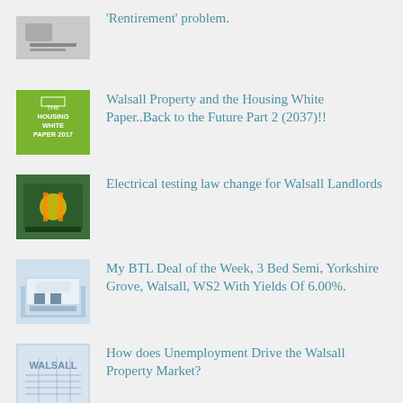‘Rentirement’ problem.
Walsall Property and the Housing White Paper..Back to the Future Part 2 (2037)!!
Electrical testing law change for Walsall Landlords
My BTL Deal of the Week, 3 Bed Semi, Yorkshire Grove, Walsall, WS2 With Yields Of 6.00%.
How does Unemployment Drive the Walsall Property Market?
SUBSCRIBE TO BLOG VIA EMAIL
Enter your email address to subscribe to this blog and receive notifications of new posts by email.